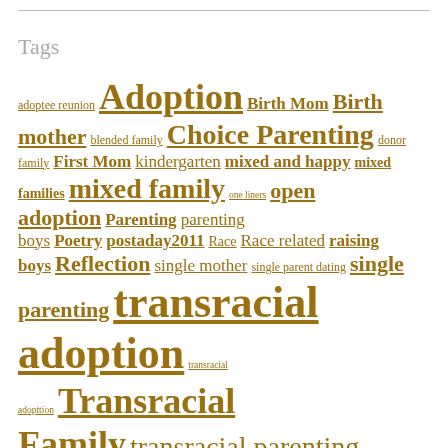Tags
adoptee reunion Adoption Birth Mom Birth mother blended family Choice Parenting donor family First Mom kindergarten mixed and happy mixed families mixed family one liners open adoption Parenting parenting boys Poetry postaday2011 Race Race related raising boys Reflection single mother single parent dating single parenting transracial adoption transracial adopttion Transracial Family transracial parenting